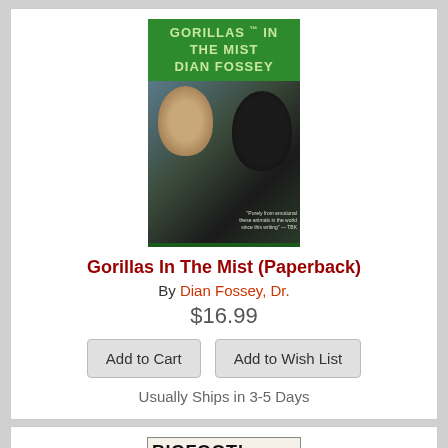[Figure (photo): Book cover of Gorillas In The Mist by Dian Fossey, green cover with author name and image of woman with gorilla]
Gorillas In The Mist (Paperback)
By Dian Fossey, Dr.
$16.99
Add to Cart
Add to Wish List
Usually Ships in 3-5 Days
[Figure (photo): Book cover of Bigfoot! The True Story of Apes in America, showing forest with tall trees]